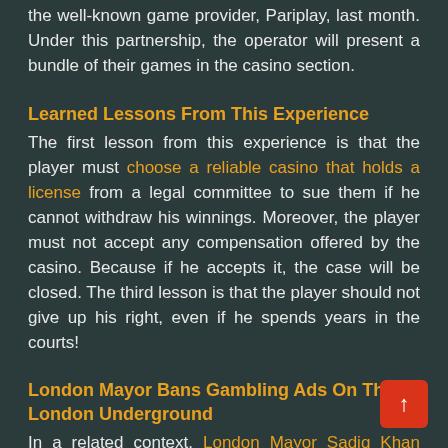the well-known game provider, Pariplay, last month. Under this partnership, the operator will present a bundle of their games in the casino section.
Learned Lessons From This Experience
The first lesson from this experience is that the player must choose a reliable casino that holds a license from a legal committee to sue them if he cannot withdraw his winnings. Moreover, the player must not accept any compensation offered by the casino. Because if he accepts it, the case will be closed. The third lesson is that the player should not give up his right, even if he spends years in the courts!
London Mayor Bans Gambling Ads On The London Underground
In a related context, London Mayor Sadiq Khan pledged to ban all gambling operator ads in the London Underground. A few months ago, Khan also banned food ads; because of their very harmful effect on children,